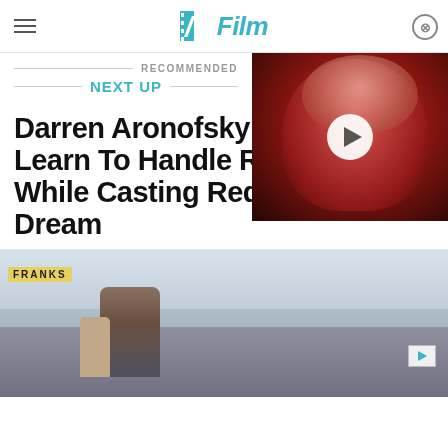/Film
[Figure (screenshot): Video thumbnail showing a masked figure in red lighting with a white play button overlay]
RECOMMENDED
NEXT UP
Darren Aronofsky Had To Learn To Handle Rejection While Casting Requiem For A Dream
[Figure (photo): Street scene photo showing people walking on a busy urban street, with a FRANKS sign visible in the background]